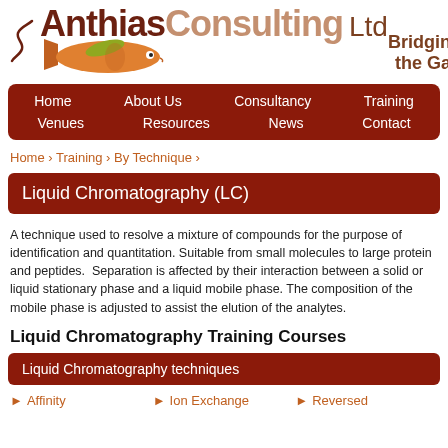[Figure (logo): Anthias Consulting Ltd logo with fish illustration and tagline 'Bridging the Gap']
Home | About Us | Consultancy | Training | Venues | Resources | News | Contact
Home › Training › By Technique ›
Liquid Chromatography (LC)
A technique used to resolve a mixture of compounds for the purpose of identification and quantitation. Suitable from small molecules to large protein and peptides. Separation is affected by their interaction between a solid or liquid stationary phase and a liquid mobile phase. The composition of the mobile phase is adjusted to assist the elution of the analytes.
Liquid Chromatography Training Courses
Liquid Chromatography techniques
Affinity
Ion Exchange
Reversed